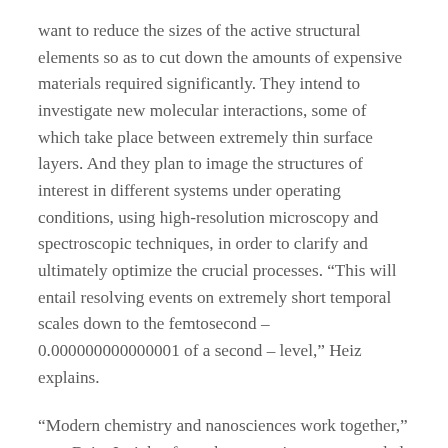want to reduce the sizes of the active structural elements so as to cut down the amounts of expensive materials required significantly. They intend to investigate new molecular interactions, some of which take place between extremely thin surface layers. And they plan to image the structures of interest in different systems under operating conditions, using high-resolution microscopy and spectroscopic techniques, in order to clarify and ultimately optimize the crucial processes. "This will entail resolving events on extremely short temporal scales down to the femtosecond – 0.000000000000001 of a second – level," Heiz explains.
"Modern chemistry and nanosciences work together," says Bein. Insights from the nanosciences are needed to fabricate and tune the properties of the systems found at different types of interface – between solid phases, between a liquid and a solid, and between a solid and a thin molecular film. Indeed the Cluster itself is organized according to the nature of the interfaces to be investigated. This allows researchers to focus on characterizing the known physical properties of